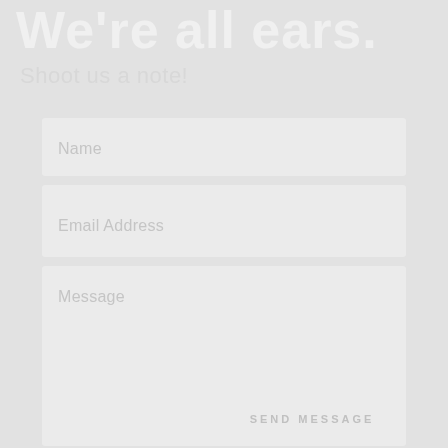We're all ears.
Shoot us a note!
Name
Email Address
Message
SEND MESSAGE